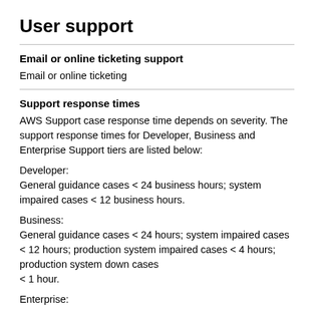User support
Email or online ticketing support
Email or online ticketing
Support response times
AWS Support case response time depends on severity. The support response times for Developer, Business and Enterprise Support tiers are listed below:
Developer:
General guidance cases < 24 business hours; system impaired cases < 12 business hours.
Business:
General guidance cases < 24 hours; system impaired cases < 12 hours; production system impaired cases < 4 hours; production system down cases < 1 hour.
Enterprise: